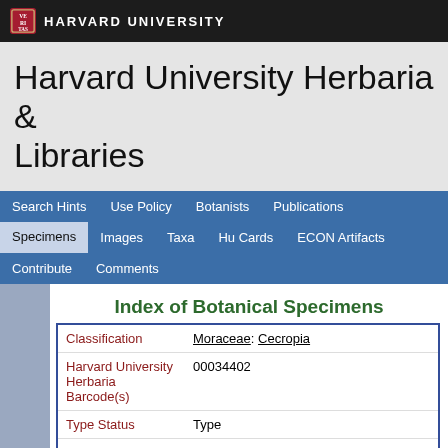HARVARD UNIVERSITY
Harvard University Herbaria & Libraries
Search Hints  Use Policy  Botanists  Publications  Specimens  Images  Taxa  Hu Cards  ECON Artifacts  Contribute  Comments
Index of Botanical Specimens
| Field | Value |
| --- | --- |
| Classification | Moraceae: Cecropia |
| Harvard University Herbaria Barcode(s) | 00034402 |
| Type Status | Type |
| Collector | R. E. Schultes |
| Collector number | 3697 |
| Country | Colombia |